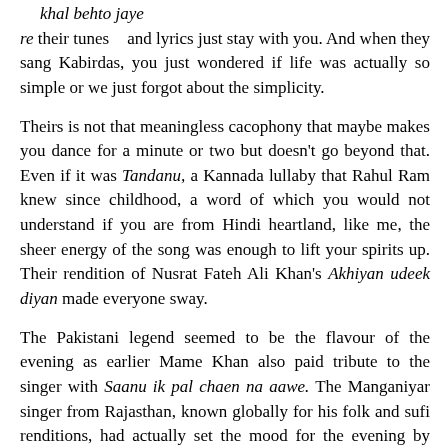khal behto jaye re their tunes and lyrics just stay with you. And when they sang Kabirdas, you just wondered if life was actually so simple or we just forgot about the simplicity.
Theirs is not that meaningless cacophony that maybe makes you dance for a minute or two but doesn't go beyond that. Even if it was Tandanu, a Kannada lullaby that Rahul Ram knew since childhood, a word of which you would not understand if you are from Hindi heartland, like me, the sheer energy of the song was enough to lift your spirits up. Their rendition of Nusrat Fateh Ali Khan's Akhiyan udeek diyan made everyone sway.
The Pakistani legend seemed to be the flavour of the evening as earlier Mame Khan also paid tribute to the singer with Saanu ik pal chaen na aawe. The Manganiyar singer from Rajasthan, known globally for his folk and sufi renditions, had actually set the mood for the evening by starting the musical night with his version of Kesariya baalam aao ni padhaaro